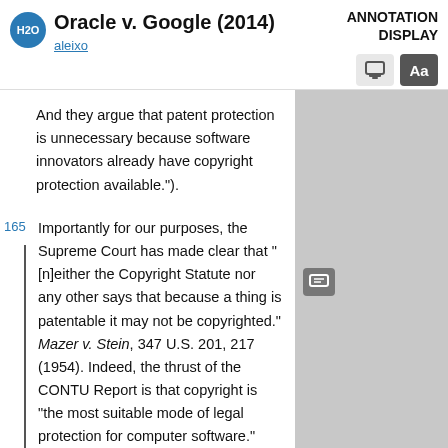Oracle v. Google (2014)
ANNOTATION DISPLAY
aleixo
And they argue that patent protection is unnecessary because software innovators already have copyright protection available.").
165 Importantly for our purposes, the Supreme Court has made clear that "[n]either the Copyright Statute nor any other says that because a thing is patentable it may not be copyrighted." Mazer v. Stein, 347 U.S. 201, 217 (1954). Indeed, the thrust of the CONTU Report is that copyright is "the most suitable mode of legal protection for computer software." Peter S. Menell, An Analysis of the Scope of